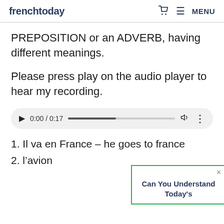frenchtoday  MENU
PREPOSITION or an ADVERB, having different meanings.
Please press play on the audio player to hear my recording.
[Figure (other): Audio player widget showing 0:00 / 0:17 with a progress bar, volume icon, and more options icon]
1. Il va en France – he goes to france
2. l'avion
Can You Understand Today's